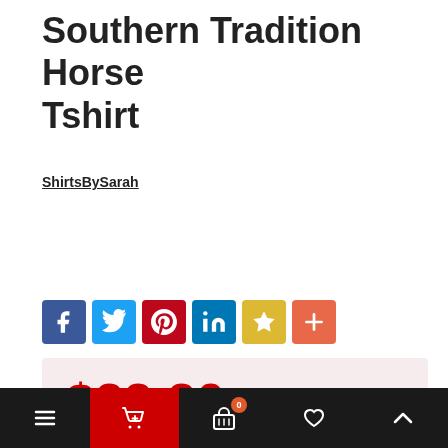Southern Tradition Horse Tshirt
ShirtsBySarah
[Figure (other): Social share buttons row: Facebook (blue), Twitter (light blue), Pinterest (red), LinkedIn (dark blue), Bookmark/star (yellow), Plus/more (orange)]
$22.20
Available Options
Our website use cookies. If you continue to use this site we will assume that you are happy with this.
More about cookies: www.aboutcookies.org
Navigation bar with menu, cart (0), basket, heart, and up-arrow icons